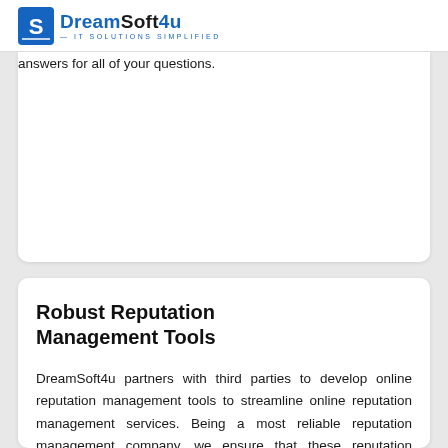DreamSoft4u — IT SOLUTIONS SIMPLIFIED
concerns. Even our review monitoring support team provides needed help on weekends and holidays so that you can get acceptable answers for all of your questions.
Robust Reputation Management Tools
DreamSoft4u partners with third parties to develop online reputation management tools to streamline online reputation management services. Being a most reliable reputation management company, we ensure that these reputation management tools undergo